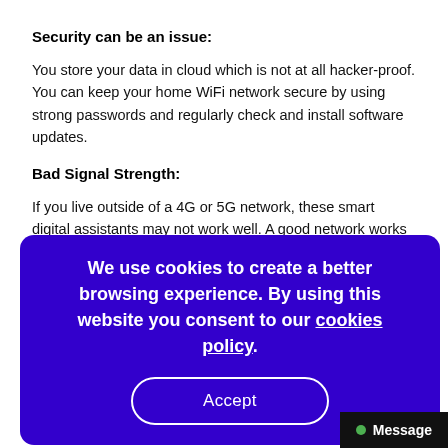Security can be an issue:
You store your data in cloud which is not at all hacker-proof. You can keep your home WiFi network secure by using strong passwords and regularly check and install software updates.
Bad Signal Strength:
If you live outside of a 4G or 5G network, these smart digital assistants may not work well. A good network works well for smart speakers but it might not work well with a smart TV or similar device that requires more processing power.
References:
https://alexa.amazon.com/spa/index.html#smart-home/virtual-assistant
https://www.somesite.com/blog/advantages-and-disadvantages-of-using-a-virtual-assistant/
[Figure (screenshot): Cookie consent overlay in dark blue/purple with text 'We use cookies to create a better browsing experience. By using this website you consent to our cookies policy.' and an Accept button]
[Figure (screenshot): Message chat widget in bottom-right corner with green dot and 'Message' label on black background]